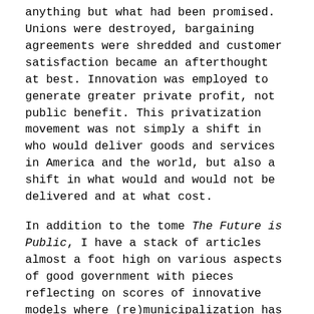anything but what had been promised. Unions were destroyed, bargaining agreements were shredded and customer satisfaction became an afterthought at best. Innovation was employed to generate greater private profit, not public benefit. This privatization movement was not simply a shift in who would deliver goods and services in America and the world, but also a shift in what would and would not be delivered and at what cost.
In addition to the tome The Future is Public, I have a stack of articles almost a foot high on various aspects of good government with pieces reflecting on scores of innovative models where (re)municipalization has restored a commitment to public benefit. I have articles on Spain and the Mondragon movement that has created hundreds of worker-owned and managed businesses across Spain, and articles about the scores of new projects emerging throughout the U.S., projects that center upon and lift up the importance of “the commons,” the place where the common good is prioritized over private profit. I even have articles dating back to The New Deal and the generosity of spirit that fueled the 1940s war effort and The New Deal policies that followed the war.